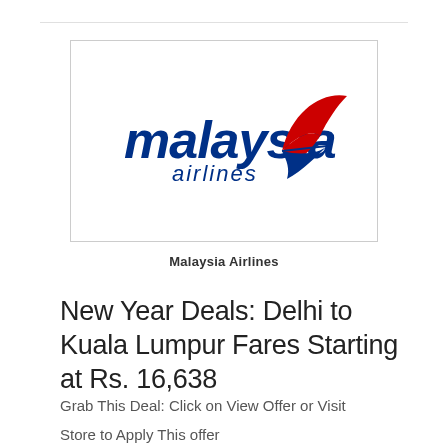[Figure (logo): Malaysia Airlines logo: dark blue italic 'malaysia' text with a stylized red and blue wau bulan (kite) wing symbol on the right, and 'airlines' in italic below]
Malaysia Airlines
New Year Deals: Delhi to Kuala Lumpur Fares Starting at Rs. 16,638
Grab This Deal: Click on View Offer or Visit
Store to Apply This offer